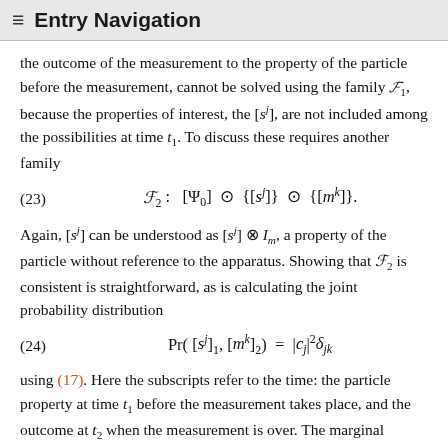≡  Entry Navigation
the outcome of the measurement to the property of the particle before the measurement, cannot be solved using the family F₁, because the properties of interest, the [sʲ], are not included among the possibilities at time t₁. To discuss these requires another family
Again, [sʲ] can be understood as [sʲ] ⊗ I_m, a property of the particle without reference to the apparatus. Showing that F₂ is consistent is straightforward, as is calculating the joint probability distribution
using (17). Here the subscripts refer to the time: the particle property at time t₁ before the measurement takes place, and the outcome at t₂ when the measurement is over. The marginal probabilities are